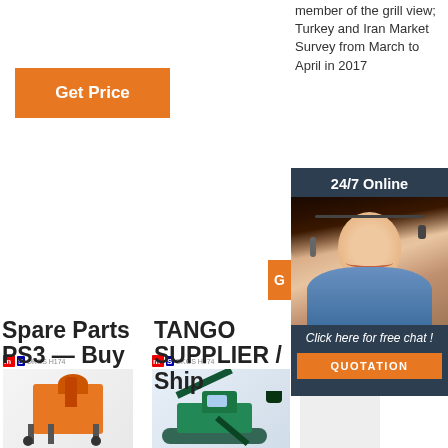member of the grill view; Turkey and Iran Market Survey from March to April in 2017
[Figure (other): Orange 'Get Price' button top left]
[Figure (other): 24/7 Online chat widget with customer service agent photo and QUOTATION button]
[Figure (photo): Industrial orange plastering/spraying machine with company logo MLS DKGS H174]
[Figure (photo): Teal/green mini excavator with company logo MLS DKGS H174]
[Figure (photo): Third product partially visible with company logo MLS]
[Figure (logo): TOP logo in orange dotted circle]
Spare Parts PS3 — Buy
TANGO SUPPLIER / Ship
Spare Parts - Fossanalyti